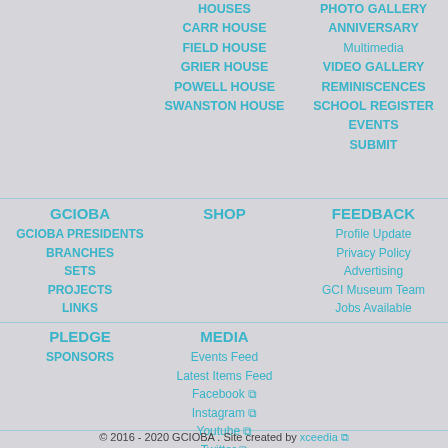HOUSES
CARR HOUSE
FIELD HOUSE
GRIER HOUSE
POWELL HOUSE
SWANSTON HOUSE
PHOTO GALLERY
ANNIVERSARY
Multimedia
VIDEO GALLERY
REMINISCENCES
SCHOOL REGISTER
EVENTS
SUBMIT
GCIOBA
SHOP
FEEDBACK
GCIOBA PRESIDENTS
BRANCHES
SETS
PROJECTS
LINKS
Profile Update
Privacy Policy
Advertising
GCI Museum Team
Jobs Available
PLEDGE
MEDIA
SPONSORS
Events Feed
Latest Items Feed
Facebook
Instagram
Youtube
Twitter
© 2016 - 2020 GCIOBA . Site created by xceedia